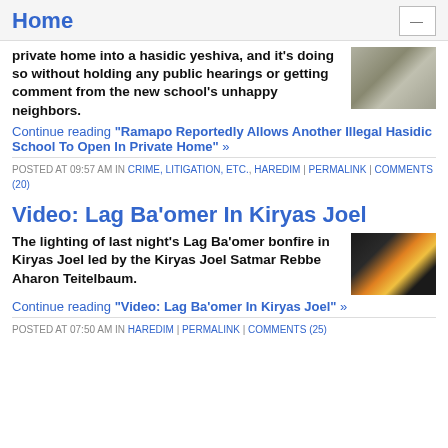Home
private home into a hasidic yeshiva, and it's doing so without holding any public hearings or getting comment from the new school's unhappy neighbors.
Continue reading "Ramapo Reportedly Allows Another Illegal Hasidic School To Open In Private Home" »
POSTED AT 09:57 AM IN CRIME, LITIGATION, ETC., HAREDIM | PERMALINK | COMMENTS (20)
Video: Lag Ba'omer In Kiryas Joel
The lighting of last night's Lag Ba'omer bonfire in Kiryas Joel led by the Kiryas Joel Satmar Rebbe Aharon Teitelbaum.
Continue reading "Video: Lag Ba'omer In Kiryas Joel" »
POSTED AT 07:50 AM IN HAREDIM | PERMALINK | COMMENTS (25)